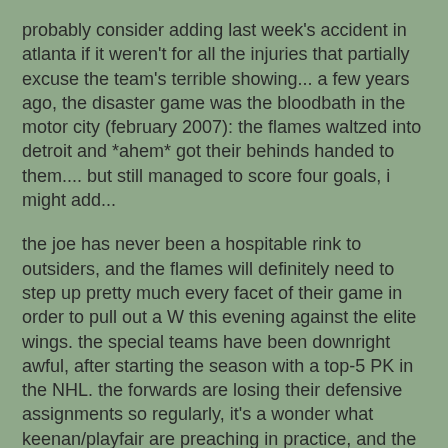probably consider adding last week's accident in atlanta if it weren't for all the injuries that partially excuse the team's terrible showing... a few years ago, the disaster game was the bloodbath in the motor city (february 2007): the flames waltzed into detroit and *ahem* got their behinds handed to them.... but still managed to score four goals, i might add...
the joe has never been a hospitable rink to outsiders, and the flames will definitely need to step up pretty much every facet of their game in order to pull out a W this evening against the elite wings. the special teams have been downright awful, after starting the season with a top-5 PK in the NHL. the forwards are losing their defensive assignments so regularly, it's a wonder what keenan/playfair are preaching in practice, and the blueliners spend a jaw-dropping amount of time in front of the opposition net. what was once a very tight grip on the third position in the conference has slipped to the point of concern, and vancouver (albeit not shooting up in the ranks) is slowly gaining ground. all of this is worrisome, to say the least.
in other interesting league news: